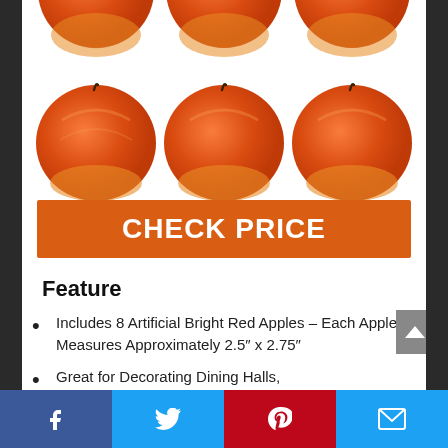[Figure (photo): Six red apples arranged in two rows of three on a white background]
CHECK PRICE
Feature
Includes 8 Artificial Bright Red Apples – Each Apple Measures Approximately 2.5″ x 2.75″
Great for Decorating Dining Halls,